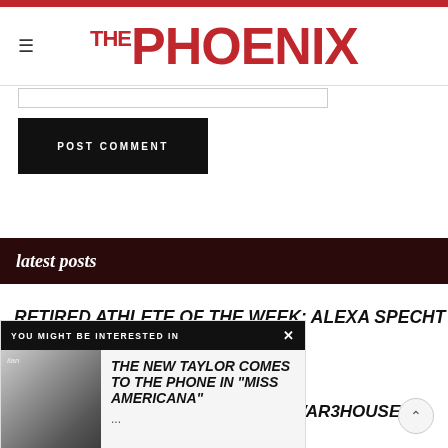THE PHOENIX
POST COMMENT
latest posts
RETIRED ATHLETE OF THE WEEK: ALEXA SPECHT
[Figure (screenshot): YOU MIGHT BE INTERESTED IN popup overlay with photo and article title: THE NEW TAYLOR COMES TO THE PHONE IN "MISS AMERICANA"]
...GRAPEFRUIT-SS OF 2022
STUDENT ARTISTS PERFORM AT WAR3HOUSE 3
April 28, 2022